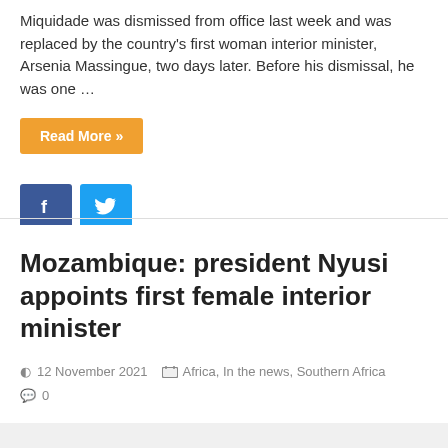Miquidade was dismissed from office last week and was replaced by the country's first woman interior minister, Arsenia Massingue, two days later. Before his dismissal, he was one …
Read More »
[Figure (other): Facebook and Twitter social share buttons]
Mozambique: president Nyusi appoints first female interior minister
12 November 2021  Africa, In the news, Southern Africa  0